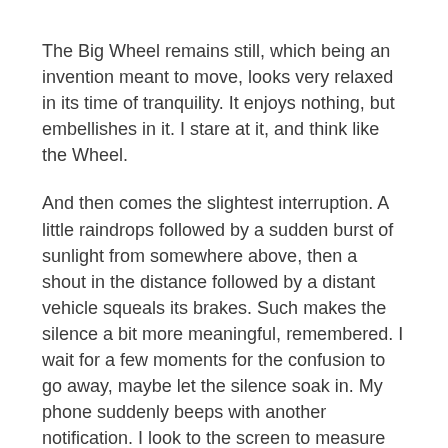The Big Wheel remains still, which being an invention meant to move, looks very relaxed in its time of tranquility. It enjoys nothing, but embellishes in it. I stare at it, and think like the Wheel.
And then comes the slightest interruption. A little raindrops followed by a sudden burst of sunlight from somewhere above, then a shout in the distance followed by a distant vehicle squeals its brakes. Such makes the silence a bit more meaningful, remembered. I wait for a few moments for the confusion to go away, maybe let the silence soak in. My phone suddenly beeps with another notification. I look to the screen to measure its importance. It's too late, the phone battery is dead for now.
I sit back. Enjoy the silence a bit more. The sudden light dies out into the clouds, only a few more skydrops, then stop. I ignore the distant citylife the Big Wheel